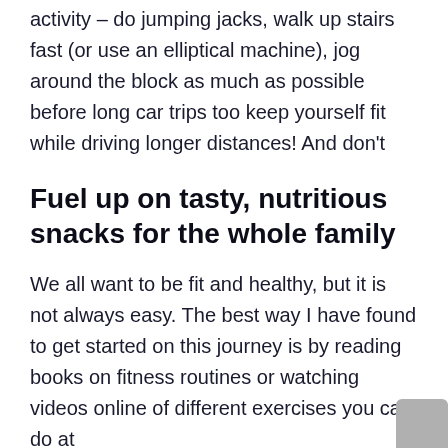activity – do jumping jacks, walk up stairs fast (or use an elliptical machine), jog around the block as much as possible before long car trips too keep yourself fit while driving longer distances! And don't
Fuel up on tasty, nutritious snacks for the whole family
We all want to be fit and healthy, but it is not always easy. The best way I have found to get started on this journey is by reading books on fitness routines or watching videos online of different exercises you can do at